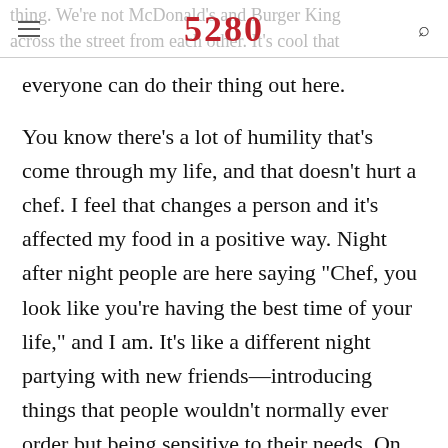5280
thing. We’re not McDonald’s and Burger King across the street from each other. It’s cool that everyone can do their thing out here.
You know there’s a lot of humility that’s come through my life, and that doesn’t hurt a chef. I feel that changes a person and it’s affected my food in a positive way. Night after night people are here saying “Chef, you look like you’re having the best time of your life,” and I am. It’s like a different night partying with new friends—introducing things that people wouldn’t normally ever order but being sensitive to their needs. On our menu I’m not telling you have to have a 10-ounce steak for $80, you tell